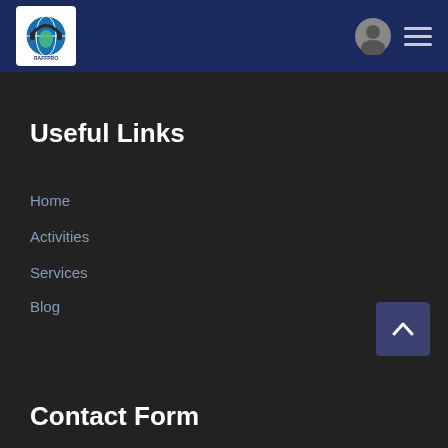[Figure (logo): RAFFPRO logo with globe and headphone icon, white background]
[Figure (other): User profile icon (gray circle with person silhouette) and hamburger menu icon in header]
Useful Links
Home
Activities
Services
Blog
[Figure (other): Back to top button with upward chevron arrow]
Contact Form